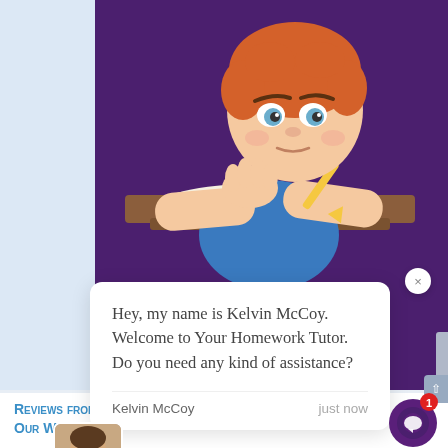[Figure (illustration): Cartoon illustration of a red-haired boy sitting at a desk with an open book, holding a pencil, resting his chin on his hand with a bored/thinking expression. Set against a purple background.]
Hey, my name is Kelvin McCoy. Welcome to Your Homework Tutor. Do you need any kind of assistance?
Kelvin McCoy	just now
[Figure (illustration): Photo avatar of a bearded man smiling]
×
Reviews from Clients who Ordered f Our Website
[Figure (other): Purple circular chat widget icon with a notification badge showing '1']